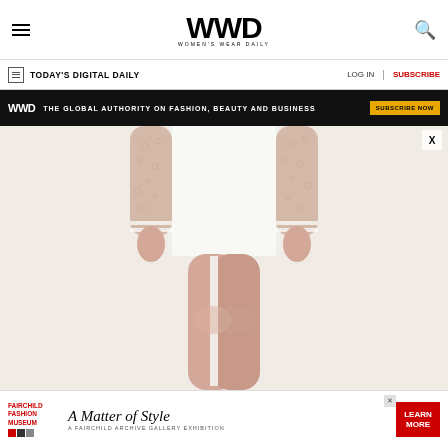[Figure (logo): WWD Women's Wear Daily logo with hamburger menu and search icon in site header]
TODAY'S DIGITAL DAILY | LOG IN | SUBSCRIBE
[Figure (infographic): WWD black banner ad: THE GLOBAL AUTHORITY ON FASHION, BEAUTY AND BUSINESS — SUBSCRIBE NOW button]
[Figure (photo): Fashion model wearing white mini dress with lace long sleeves, cropped to show torso and legs, on neutral background]
[Figure (infographic): Fairchild Fashion Museum bottom banner ad: A Matter of Style — A Fairchild Archive Gallery Exhibition — LEARN MORE button]